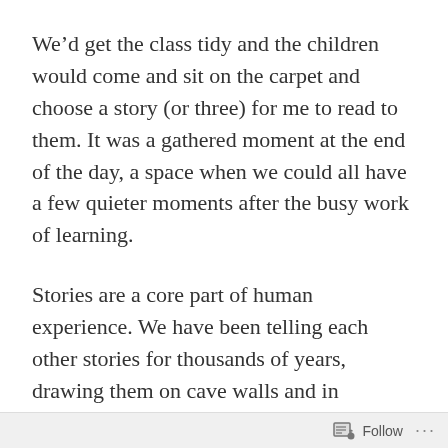We'd get the class tidy and the children would come and sit on the carpet and choose a story (or three) for me to read to them. It was a gathered moment at the end of the day, a space when we could all have a few quieter moments after the busy work of learning.
Stories are a core part of human experience. We have been telling each other stories for thousands of years, drawing them on cave walls and in temples. Stories allow us to weave our histories, shape our own stories and experiences. Folk and fairy stories speak of the unspeakable, capturing
Follow ···